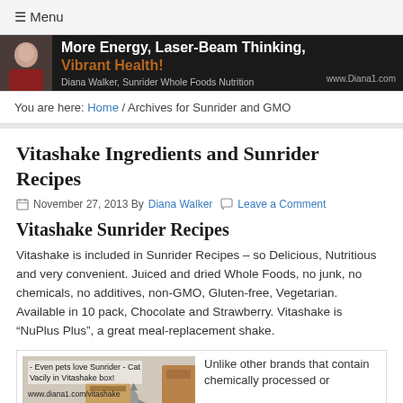≡ Menu
[Figure (photo): Website banner: Photo of a woman on the left, dark background with text 'More Energy, Laser-Beam Thinking, Vibrant Health! Diana Walker, Sunrider Whole Foods Nutrition www.Diana1.com']
You are here: Home / Archives for Sunrider and GMO
Vitashake Ingredients and Sunrider Recipes
November 27, 2013 By Diana Walker   Leave a Comment
Vitashake Sunrider Recipes
Vitashake is included in Sunrider Recipes – so Delicious, Nutritious and very convenient. Juiced and dried Whole Foods, no junk, no chemicals, no additives, non-GMO, Gluten-free, Vegetarian. Available in 10 pack, Chocolate and Strawberry. Vitashake is "NuPlus Plus", a great meal-replacement shake.
[Figure (photo): Photo of a cat (Vacily) sitting in a Vitashake box with caption 'Even pets love Sunrider - Cat Vacily in Vitashake box!' and url www.diana1.com/vitashake]
Unlike other brands that contain chemically processed or